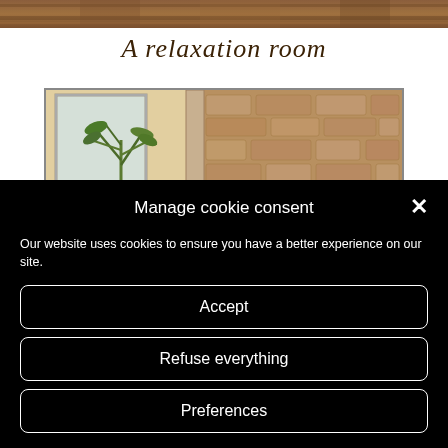[Figure (photo): Top strip of a photo showing wooden ceiling/beams in warm brown tones]
A relaxation room
[Figure (photo): Photo of a relaxation room interior showing a plant near a window and a stone wall in warm tones]
Manage cookie consent
Our website uses cookies to ensure you have a better experience on our site.
Accept
Refuse everything
Preferences